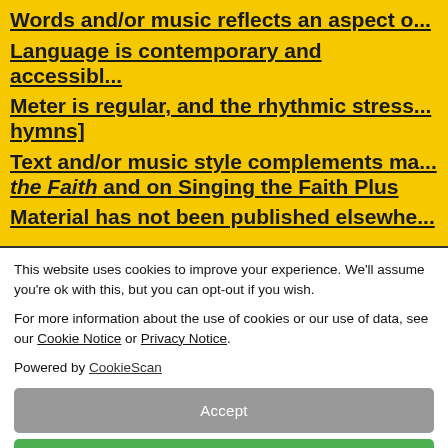Words and/or music reflects an aspect of
Language is contemporary and accessible
Meter is regular, and the rhythmic stress hymns]
Text and/or music style complements ma- the Faith and on Singing the Faith Plus
Material has not been published elsewhere
This website uses cookies to improve your experience. We'll assume you're ok with this, but you can opt-out if you wish.
For more information about the use of cookies or our use of data, see our Cookie Notice or Privacy Notice.
Powered by CookieScan
Accept
Or Select Your Own Preferences